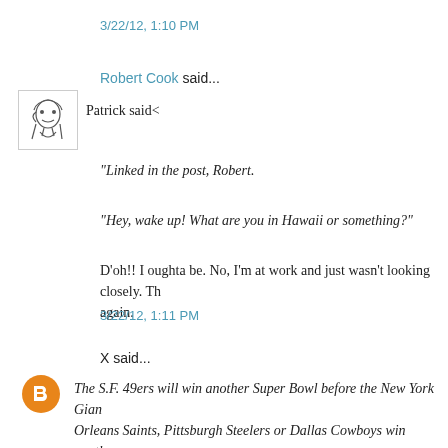3/22/12, 1:10 PM
Robert Cook said...
Patrick said<
"Linked in the post, Robert.
"Hey, wake up! What are you in Hawaii or something?"
D'oh!! I oughta be. No, I'm at work and just wasn't looking closely. Th again.
3/22/12, 1:11 PM
X said...
The S.F. 49ers will win another Super Bowl before the New York Gian Orleans Saints, Pittsburgh Steelers or Dallas Cowboys win another;